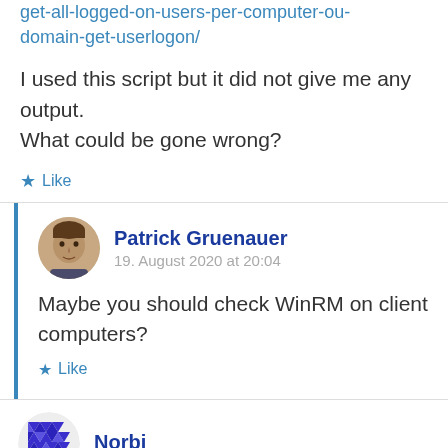get-all-logged-on-users-per-computer-ou-domain-get-userlogon/
I used this script but it did not give me any output.
What could be gone wrong?
Like
Patrick Gruenauer
19. August 2020 at 20:04
Maybe you should check WinRM on client computers?
Like
Norbi